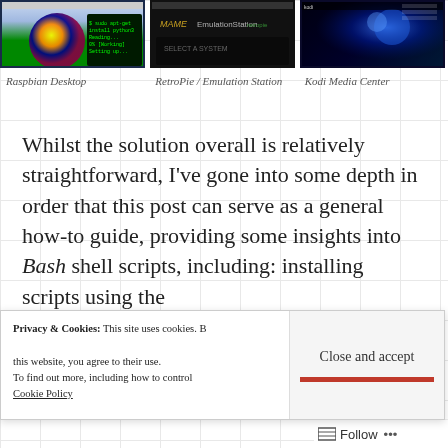[Figure (screenshot): Raspbian Desktop screenshot showing a colorful sphere and terminal window]
[Figure (screenshot): RetroPie / Emulation Station screenshot with game emulator logos on dark background]
[Figure (screenshot): Kodi Media Center screenshot with blue particle art and menu overlay]
Raspbian Desktop
RetroPie / Emulation Station
Kodi Media Center
Whilst the solution overall is relatively straightforward, I've gone into some depth in order that this post can serve as a general how-to guide, providing some insights into Bash shell scripts, including: installing scripts using the
Privacy & Cookies: This site uses cookies. By continuing to use this website, you agree to their use.
To find out more, including how to control cookies, see here:
Cookie Policy
Close and accept
Follow